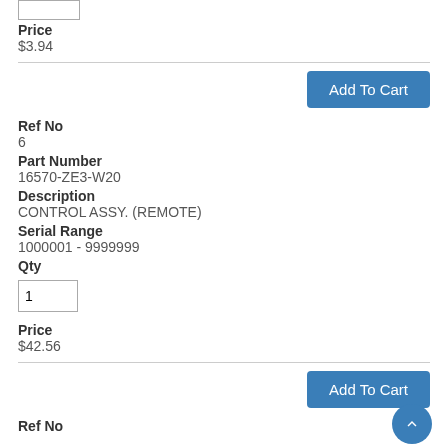[Figure (other): Quantity input box (top, partially visible)]
Price
$3.94
Add To Cart
Ref No
6
Part Number
16570-ZE3-W20
Description
CONTROL ASSY. (REMOTE)
Serial Range
1000001 - 9999999
Qty
[Figure (other): Quantity input box with value 1]
Price
$42.56
Add To Cart
Ref No